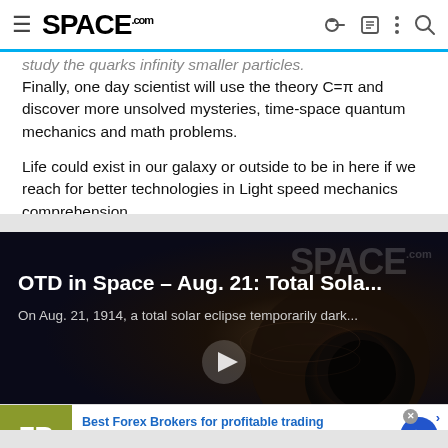SPACE.com
study the quarks infinity smaller particles.
Finally, one day scientist will use the theory C=π and discover more unsolved mysteries, time-space quantum mechanics and math problems.
Life could exist in our galaxy or outside to be in here if we reach for better technologies in Light speed mechanics comprehension.
[Figure (screenshot): Video thumbnail for 'OTD in Space – Aug. 21: Total Sola...' with subtitle 'On Aug. 21, 1914, a total solar eclipse temporarily dark...' showing a space/eclipse image with play button and SPACE.com watermark]
[Figure (other): Advertisement banner: Best Forex Brokers for profitable trading – Open Forex Account, receive Bonus and start earning Now – forex-ratings.com, with FR logo in olive/yellow square and blue arrow button]